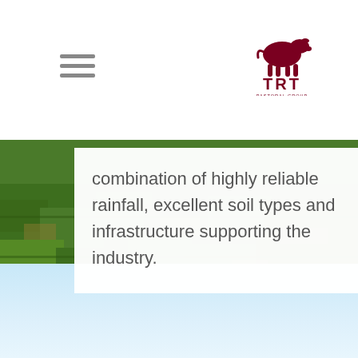[Figure (logo): TRT Pastoral Group logo with cow silhouette]
[Figure (photo): Green grass pasture background photo]
combination of highly reliable rainfall, excellent soil types and infrastructure supporting the industry.
[Figure (photo): Light blue sky background section at bottom]